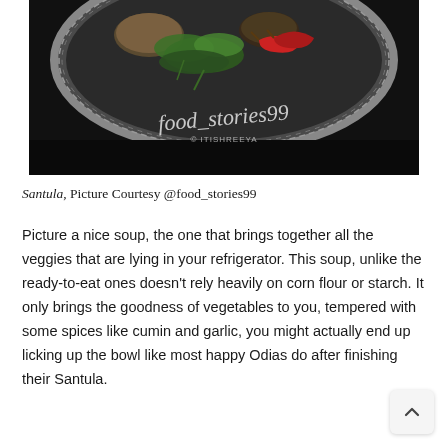[Figure (photo): Overhead photo of a steel thali plate with vegetables including green cilantro and red dried chilies, with watermark text 'food_stories99' and '© ITISHREEYA' overlaid on a dark background.]
Santula, Picture Courtesy @food_stories99
Picture a nice soup, the one that brings together all the veggies that are lying in your refrigerator. This soup, unlike the ready-to-eat ones doesn't rely heavily on corn flour or starch. It only brings the goodness of vegetables to you, tempered with some spices like cumin and garlic, you might actually end up licking up the bowl like most happy Odias do after finishing their Santula.